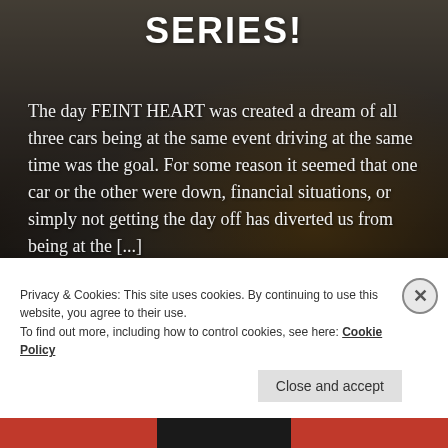SERIES!
The day FEINT HEART was created a dream of all three cars being at the same event driving at the same time was the goal. For some reason it seemed that one car or the other were down, financial situations, or simply not getting the day off has diverted us from being at the [...]
READ MORE →
Privacy & Cookies: This site uses cookies. By continuing to use this website, you agree to their use.
To find out more, including how to control cookies, see here: Cookie Policy
Close and accept